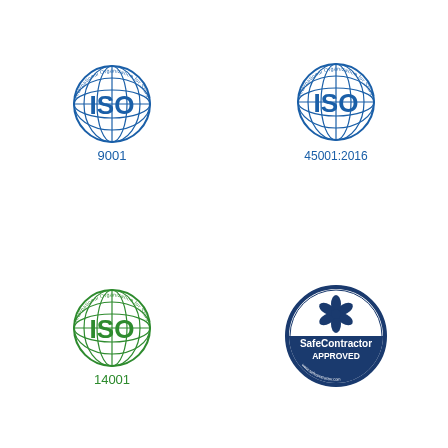[Figure (logo): ISO 9001 certification logo — blue globe with 'International Organization for Standardization' arc text, large blue 'ISO' letters, and '9001' below]
[Figure (logo): ISO 45001:2016 certification logo — blue globe with 'International Organization for Standardization' arc text, large blue 'ISO' letters, and '45001:2016' below]
[Figure (logo): ISO 14001 certification logo — green globe with 'International Organization for Standardization' arc text, large green 'ISO' letters, and '14001' below]
[Figure (logo): SafeContractor Approved badge — dark blue circular badge with a flower/asterisk symbol at top and 'SafeContractor APPROVED' text]